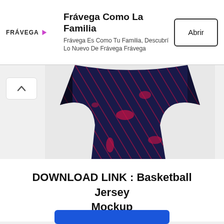[Figure (screenshot): Frávega advertisement banner with logo, tagline 'Frávega Como La Familia', subtitle 'Frávega Es Como Tu Familia, Descubrí Lo Nuevo De Frávega Frávega', and an 'Abrir' button]
[Figure (photo): Basketball jersey mockup showing a dark navy blue and red sport t-shirt with diagonal stripe patterns and paint splatter design. Label reads 'SPORT T-SHIRT MOCKUP'.]
DOWNLOAD LINK : Basketball Jersey Mockup
[Figure (other): Blue download button partially visible at bottom of page]